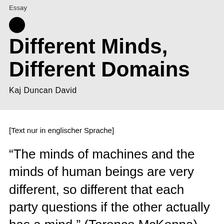Essay
Different Minds, Different Domains
Kaj Duncan David
[Text nur in englischer Sprache]
“The minds of machines and the minds of human beings are very different, so different that each party questions if the other actually has a mind.” (Terence McKenna)